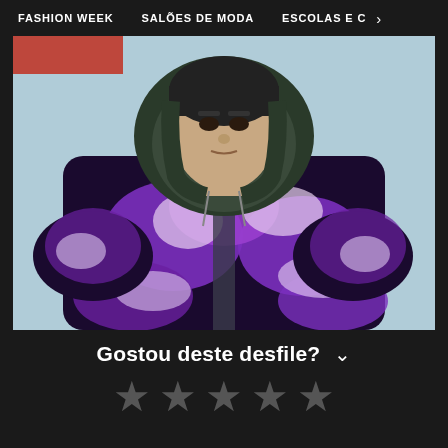FASHION WEEK   SALÕES DE MODA   ESCOLAS E C  >
[Figure (photo): A male model wearing an oversized purple, black and white tie-dye patterned faux fur hoodie coat on a fashion runway, light blue background]
Gostou deste desfile?
★ ★ ★ ★ ★